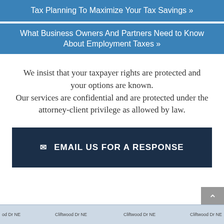Tax Planning To Maximize Your Tax Savings »
What Business Owners And Partners Need to Know About Employment Taxes »
We insist that your taxpayer rights are protected and your options are known. Our services are confidential and are protected under the attorney-client privilege as allowed by law.
[Figure (other): Dark navy button with envelope icon and text: EMAIL US FOR A RESPONSE]
[Figure (map): Partial map strip showing Cliftwood Dr NE street labels at bottom of page]